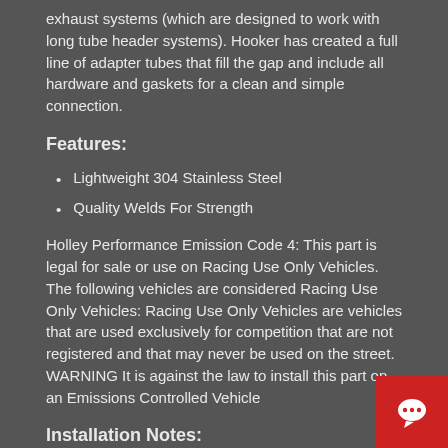exhaust systems (which are designed to work with long tube header systems). Hooker has created a full line of adapter tubes that fill the gap and include all hardware and gaskets for a clean and simple connection.
Features:
Lightweight 304 Stainless Steel
Quality Welds For Strength
Holley Performance Emission Code 4: This part is legal for sale or use on Racing Use Only Vehicles. The following vehicles are considered Racing Use Only Vehicles: Racing Use Only Vehicles are vehicles that are used exclusively for competition that are not registered and that may never be used on the street. WARNING It is against the law to install this part on an Emissions Controlled Vehicle
Installation Notes:
This Hooker Blackheart product has been designed only for use on vehicles which are equipped with a stock front subframe and stock steering and suspension components. It is not compatible with...